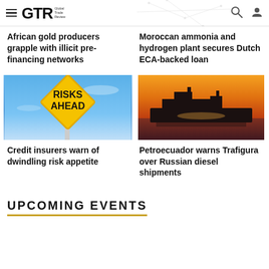GTR Global Trade Review
African gold producers grapple with illicit pre-financing networks
Moroccan ammonia and hydrogen plant secures Dutch ECA-backed loan
[Figure (photo): Yellow diamond-shaped road sign reading RISKS AHEAD against a blue sky background]
Credit insurers warn of dwindling risk appetite
[Figure (photo): Large cargo/oil tanker ship silhouetted against an orange sunset sky on water]
Petroecuador warns Trafigura over Russian diesel shipments
UPCOMING EVENTS